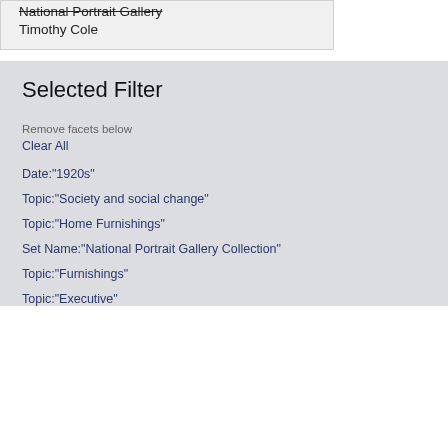National Portrait Gallery
Timothy Cole
Selected Filter
Remove facets below
Clear All
Date:"1920s"
Topic:"Society and social change"
Topic:"Home Furnishings"
Set Name:"National Portrait Gallery Collection"
Topic:"Furnishings"
Topic:"Executive"